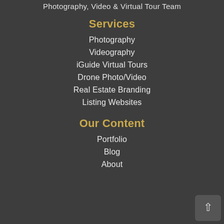Photography, Video & Virtual Tour Team
Services
Photography
Videography
iGuide Virtual Tours
Drone Photo/Video
Real Estate Branding
Listing Websites
Our Content
Portfolio
Blog
About